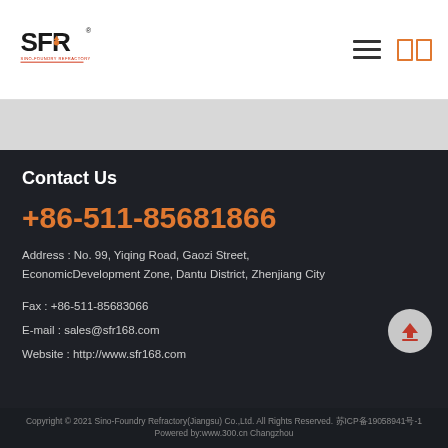[Figure (logo): SFR Sino-Foundry Refractory logo with orange flame icon]
Contact Us
+86-511-85681866
Address : No. 99, Yiqing Road, Gaozi Street, EconomicDevelopment Zone, Dantu District, Zhenjiang City
Fax : +86-511-85683066
E-mail : sales@sfr168.com
Website : http://www.sfr168.com
Copyright © 2021 Sino-Foundry Refractory(Jiangsu) Co.,Ltd. All Rights Reserved. 苏ICP备19058941号-1 Powered by:www.300.cn Changzhou